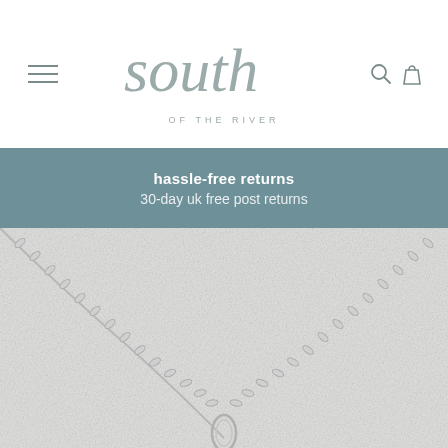[Figure (logo): South of the River script logo with tagline OF THE RIVER]
hassle-free returns
30-day uk free post returns
[Figure (photo): Close-up photo of a silver chain necklace with oval links on a light grey textured background]